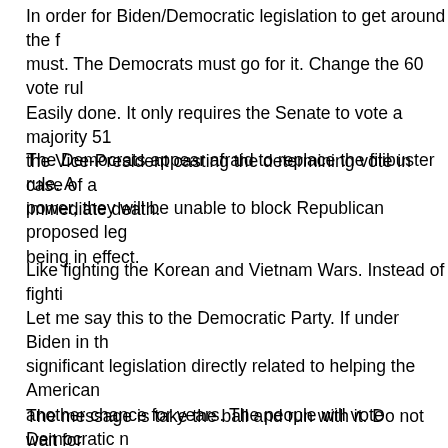In order for Biden/Democratic legislation to get around the f... must. The Democrats must go for it. Change the 60 vote rul... Easily done. It only requires the Senate to vote a majority 51 the Vice-President casting the determining vote in case of a immediate death.
The Democrats appear afraid to replace the filibuster rule. A power, they will be unable to block Republican proposed leg being in effect.
Like fighting the Korean and Vietnam Wars. Instead of fighti
Let me say this to the Democratic Party. If under Biden in th significant legislation directly related to helping the American another chance for years. The people will vote Democratic n Republican domination of Congress.
The message is take the ball and run with it. Do not wait for Democrats control and must exercise that control. Otherwise